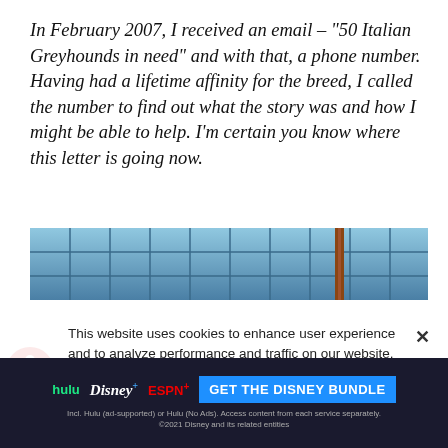In February 2007, I received an email – “50 Italian Greyhounds in need” and with that, a phone number. Having had a lifetime affinity for the breed, I called the number to find out what the story was and how I might be able to help. I’m certain you know where this letter is going now.
[Figure (photo): Partial photo showing a blue background with grid-like metal cage bars and a vertical brown/rust colored pipe or post]
This website uses cookies to enhance user experience and to analyze performance and traffic on our website. We also share information about your use of our site with our social media, advertising and analytics partners. By accepting cookies, you are also agreeing to accept our site terms and conditions. Terms & Conditions
[Figure (logo): Disney Bundle advertisement banner showing Hulu, Disney+, and ESPN+ logos with GET THE DISNEY BUNDLE call to action button]